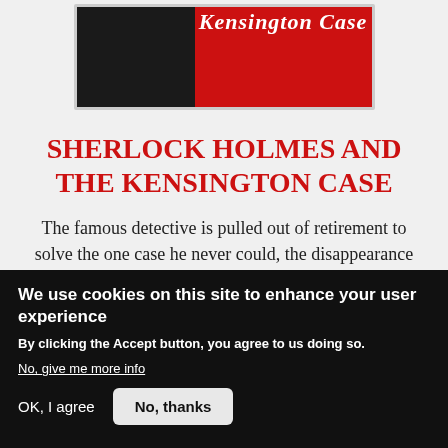[Figure (illustration): Book cover image for 'Kensington Case' showing red and black design with italic serif title text]
SHERLOCK HOLMES AND THE KENSINGTON CASE
The famous detective is pulled out of retirement to solve the one case he never could, the disappearance of Wendy, John, and Michael Darling.
We use cookies on this site to enhance your user experience
By clicking the Accept button, you agree to us doing so.
No, give me more info
OK, I agree
No, thanks